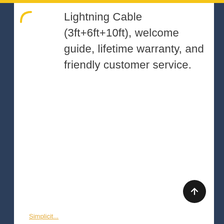Lightning Cable (3ft+6ft+10ft), welcome guide, lifetime warranty, and friendly customer service.